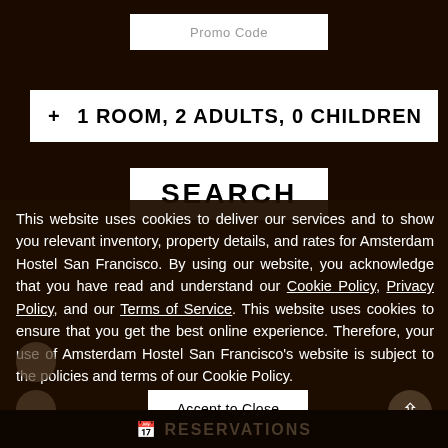Promo Code
+ 1 ROOM, 2 ADULTS, 0 CHILDREN
SEARCH
This website uses cookies to deliver our services and to show you relevant inventory, property details, and rates for Amsterdam Hostel San Francisco. By using our website, you acknowledge that you have read and understand our Cookie Policy, Privacy Policy, and our Terms of Service. This website uses cookies to ensure that you get the best online experience. Therefore, your use of Amsterdam Hostel San Francisco's website is subject to the policies and terms of our Cookie Policy.
Accept to Close
RESERVATIONS